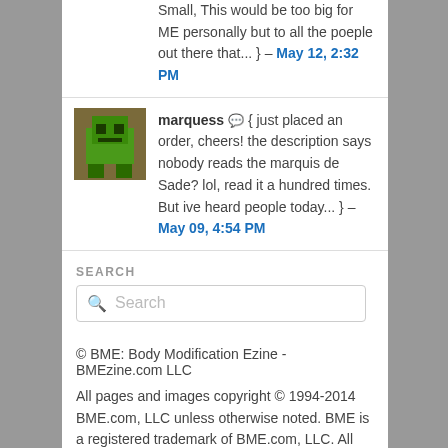Small, This would be too big for ME personally but to all the poeple out there that... } – May 12, 2:32 PM
marquess { just placed an order, cheers! the description says nobody reads the marquis de Sade? lol, read it a hundred times. But ive heard people today... } – May 09, 4:54 PM
SEARCH
Search
© BME: Body Modification Ezine - BMEzine.com LLC
All pages and images copyright © 1994-2014 BME.com, LLC unless otherwise noted. BME is a registered trademark of BME.com, LLC. All rights reserved. Duplication or distribution of this media is forbidden except with express permission. Many of these pages contain documentation of dangerous or life-threatening activities of questionable legality — BME accepts no responsibility or liability for the actions of others